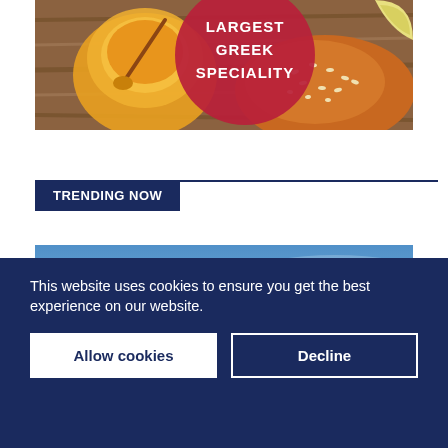[Figure (photo): Food photo showing a jar of honey with a honey dipper and baked pastry with sesame seeds on a wooden surface, with a red circle overlay reading LARGEST GREEK SPECIALITY]
TRENDING NOW
[Figure (photo): Blue sky background image with a red WORLD badge label in the top left corner]
This website uses cookies to ensure you get the best experience on our website.
Allow cookies
Decline